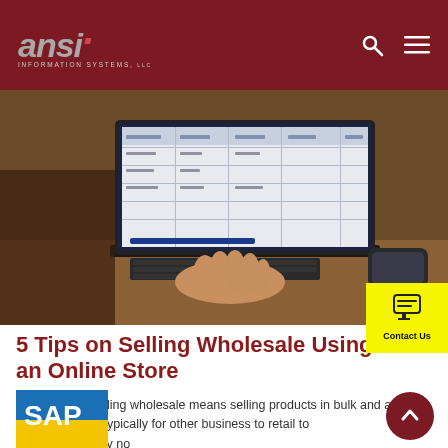ansi INFORMATION SYSTEMS, LLC
[Figure (photo): Person typing on a laptop showing a spreadsheet/data management interface on screen, viewed from behind in a warm-lit environment.]
5 Tips on Selling Wholesale Using an Online Store
By definition, selling wholesale means selling products in bulk and at lowered prices, typically for other business to retail to customers. It's by no
[Figure (logo): SAP logo badge in blue and yellow]
[Figure (other): Contact Us button with chat icon on yellow background]
[Figure (other): Back to top circular button in dark red]